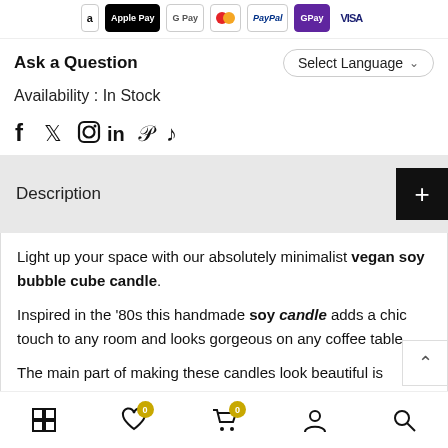[Figure (other): Payment method icons: Amazon, Apple Pay, Google Pay, Mastercard, PayPal, GPay, Visa]
Ask a Question
Select Language
Availability : In Stock
[Figure (other): Social media icons: Facebook, Twitter, Instagram, LinkedIn, Pinterest, TikTok]
Description
Light up your space with our absolutely minimalist vegan soy bubble cube candle.
Inspired in the '80s this handmade soy candle adds a chic touch to any room and looks gorgeous on any coffee table.
The main part of making these candles look beautiful is
[Figure (other): Bottom navigation bar with grid, wishlist (0), cart (0), account, and search icons]
£14.00 £12.00